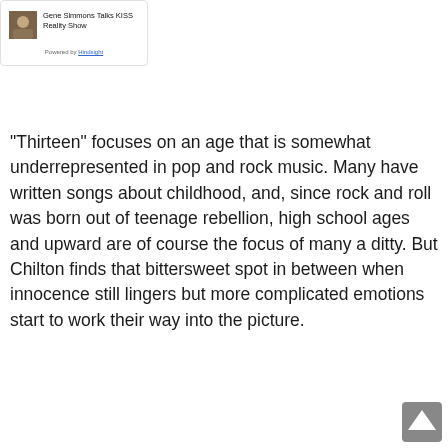[Figure (screenshot): Sidebar widget card showing a thumbnail image of a person and an article link titled 'Gene Simmons Talks KISS Reality Show', with 'Powered by Hindsight' attribution at the bottom.]
“Thirteen” focuses on an age that is somewhat underrepresented in pop and rock music. Many have written songs about childhood, and, since rock and roll was born out of teenage rebellion, high school ages and upward are of course the focus of many a ditty. But Chilton finds that bittersweet spot in between when innocence still lingers but more complicated emotions start to work their way into the picture.